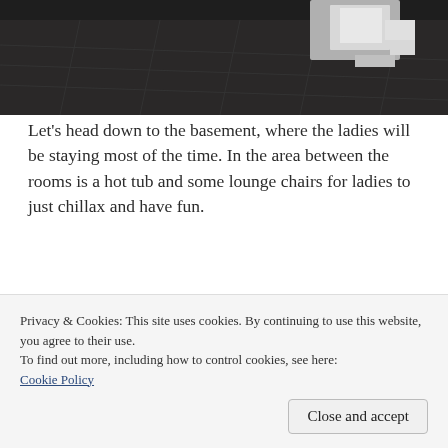[Figure (screenshot): Top portion of a room in a video game (The Sims), showing dark floor with tile pattern and white objects/furniture in the upper right corner against a dark background.]
Let’s head down to the basement, where the ladies will be staying most of the time. In the area between the rooms is a hot tub and some lounge chairs for ladies to just chillax and have fun.
[Figure (screenshot): Interior room screenshot from a video game (The Sims) showing a basement or living area with ceiling fan, warm lighting, curtains, artwork on walls, and furniture including a sofa.]
Privacy & Cookies: This site uses cookies. By continuing to use this website, you agree to their use.
To find out more, including how to control cookies, see here:
Cookie Policy
Close and accept